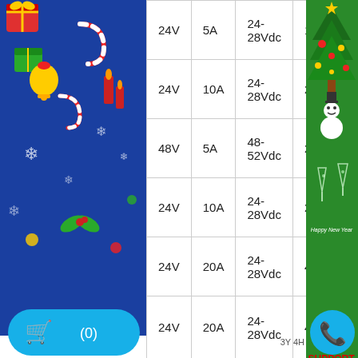[Figure (illustration): Left blue Christmas decorative banner with stickers (gift boxes, candy canes, bells, snowflakes, Merry Christmas text) and bottom teal rounded section. Right green Christmas banner with tree, ornaments, Happy New Year text, and GRT Greentech logo at bottom.]
| Voltage | Current | Range | Value |
| --- | --- | --- | --- |
| 24V | 5A | 24-28Vdc | 120 |
| 24V | 10A | 24-28Vdc | 240 |
| 48V | 5A | 48-52Vdc | 240 |
| 24V | 10A | 24-28Vdc | 240 |
| 24V | 20A | 24-28Vdc | 480 |
| 24V | 20A | 24-28Vdc | 48 |
TECHNICAL SUPPORT
MR. NHÂN
0935 041313
SALE SUPPORT
sales@greentechvn.com
3Y 4H